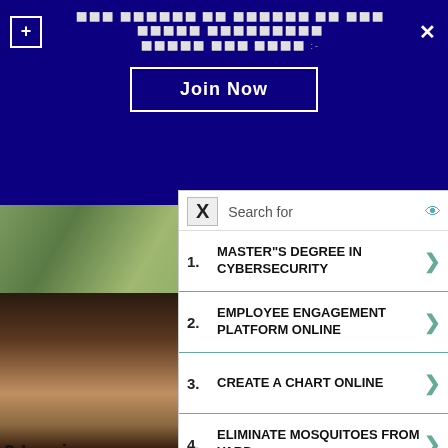Join Now — promotional banner with Hindi/Devanagari text and Join Now button
[Figure (screenshot): Blurred garden/outdoor background photo on left side behind ad overlay]
[Figure (screenshot): Blurred brown/wood background on right side]
1. MASTER"S DEGREE IN CYBERSECURITY
2. EMPLOYEE ENGAGEMENT PLATFORM ONLINE
3. CREATE A CHART ONLINE
4. ELIMINATE MOSQUITOES FROM YARD
5. MOVING COSTS CROSS COUNTRY
Yahoo! Search | Sponsored
9 Iconic
BRAINBER
[Figure (photo): Dark indoor photo showing two people near window with chandelier lights]